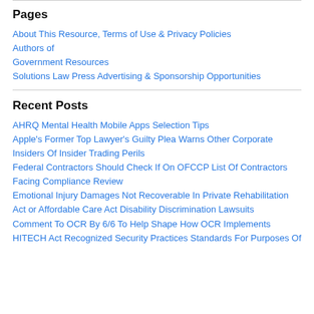Pages
About This Resource, Terms of Use & Privacy Policies
Authors of
Government Resources
Solutions Law Press Advertising & Sponsorship Opportunities
Recent Posts
AHRQ Mental Health Mobile Apps Selection Tips
Apple's Former Top Lawyer's Guilty Plea Warns Other Corporate Insiders Of Insider Trading Perils
Federal Contractors Should Check If On OFCCP List Of Contractors Facing Compliance Review
Emotional Injury Damages Not Recoverable In Private Rehabilitation Act or Affordable Care Act Disability Discrimination Lawsuits
Comment To OCR By 6/6 To Help Shape How OCR Implements HITECH Act Recognized Security Practices Standards For Purposes Of